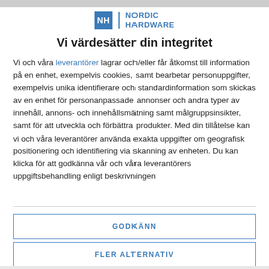[Figure (logo): Nordic Hardware logo with blue NH box and blue text NORDIC HARDWARE]
Vi värdesätter din integritet
Vi och våra leverantörer lagrar och/eller får åtkomst till information på en enhet, exempelvis cookies, samt bearbetar personuppgifter, exempelvis unika identifierare och standardinformation som skickas av en enhet för personanpassade annonser och andra typer av innehåll, annons- och innehållsmätning samt målgruppsinsikter, samt för att utveckla och förbättra produkter. Med din tillåtelse kan vi och våra leverantörer använda exakta uppgifter om geografisk positionering och identifiering via skanning av enheten. Du kan klicka för att godkänna vår och våra leverantörers uppgiftsbehandling enligt beskrivningen
GODKÄNN
FLER ALTERNATIV